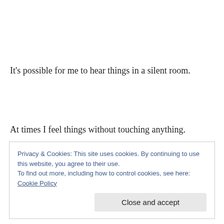It's possible for me to hear things in a silent room.
At times I feel things without touching anything.
I can taste the good without my tongue.
Privacy & Cookies: This site uses cookies. By continuing to use this website, you agree to their use.
To find out more, including how to control cookies, see here: Cookie Policy
Close and accept